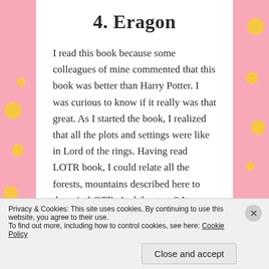4. Eragon
I read this book because some colleagues of mine commented that this book was better than Harry Potter. I was curious to know if it really was that great. As I started the book, I realized that all the plots and settings were like in Lord of the rings. Having read LOTR book, I could relate all the forests, mountains described here to those in LOTR. And the story? It looked more like Star Wars story. There was nothing new storywise or plotwise so
Privacy & Cookies: This site uses cookies. By continuing to use this website, you agree to their use.
To find out more, including how to control cookies, see here: Cookie Policy
Close and accept